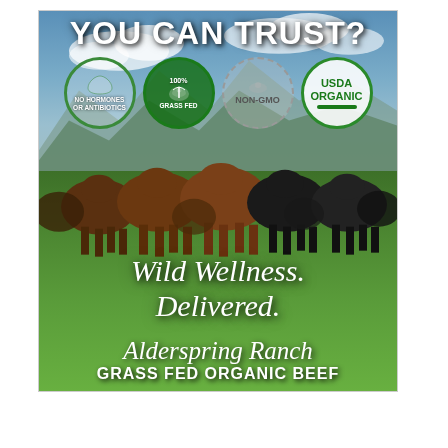[Figure (photo): Advertising image for Alderspring Ranch Grass Fed Organic Beef. Shows a herd of cattle (brown and black cows) standing in a lush green field with mountains and cloudy sky in background. Overlaid text reads 'YOU CAN TRUST?' at top with four certification badges: 'No Hormones or Antibiotics', '100% Grass Fed', 'Non-GMO', and 'USDA Organic'. Lower portion has cursive text 'Wild Wellness. Delivered.' and 'Alderspring Ranch' with 'Grass Fed Organic Beef' in bold.]